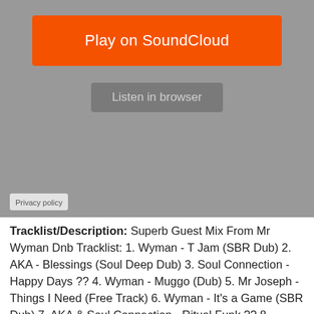[Figure (screenshot): SoundCloud embedded player widget with orange 'Play on SoundCloud' button, grey 'Listen in browser' button, grey background player area, and 'Privacy policy' label at bottom left]
Tracklist/Description: Superb Guest Mix From Mr Wyman Dnb Tracklist: 1. Wyman - T Jam (SBR Dub) 2. AKA - Blessings (Soul Deep Dub) 3. Soul Connection - Happy Days ?? 4. Wyman - Muggo (Dub) 5. Mr Joseph - Things I Need (Free Track) 6. Wyman - It's a Game (SBR Dub) 7. AKA & Soul Connection - Ritual Funk ?? 8. Wyman - Two Minuets Too (Dub) 9. Tim Cant - Understand This Groove (Soul Bros. Records) 10. Wyman - Ray of Light (SBR Dub) 11. Soul Connection - Basically Corrupt ?? 12. Wyman - Extract (Soul Deep Dub) 13. Wyman - Kayden (Melody